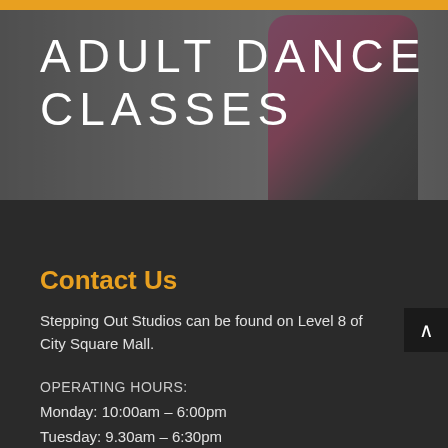ADULT DANCE CLASSES
Contact Us
Stepping Out Studios can be found on Level 8 of City Square Mall.
OPERATING HOURS:
Monday: 10:00am – 6:00pm
Tuesday: 9.30am – 6:30pm
Wednesday: 9:30am – 6:30pm